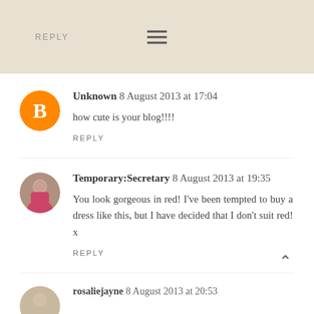REPLY  ☰
Unknown 8 August 2013 at 17:04
how cute is your blog!!!!
REPLY
Temporary:Secretary 8 August 2013 at 19:35
You look gorgeous in red! I've been tempted to buy a dress like this, but I have decided that I don't suit red! x
REPLY
rosaliejayne 8 August 2013 at 20:53